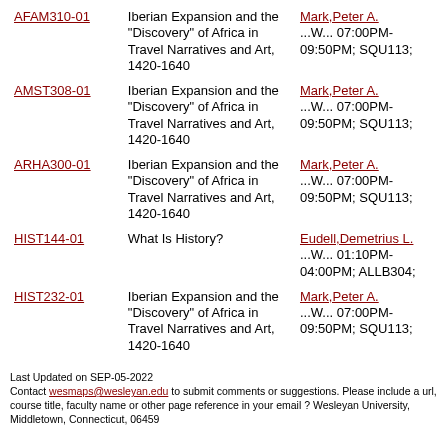| Course Code | Title | Instructor / Schedule |
| --- | --- | --- |
| AFAM310-01 | Iberian Expansion and the "Discovery" of Africa in Travel Narratives and Art, 1420-1640 | Mark,Peter A. ...W... 07:00PM-09:50PM; SQU113; |
| AMST308-01 | Iberian Expansion and the "Discovery" of Africa in Travel Narratives and Art, 1420-1640 | Mark,Peter A. ...W... 07:00PM-09:50PM; SQU113; |
| ARHA300-01 | Iberian Expansion and the "Discovery" of Africa in Travel Narratives and Art, 1420-1640 | Mark,Peter A. ...W... 07:00PM-09:50PM; SQU113; |
| HIST144-01 | What Is History? | Eudell,Demetrius L. ...W... 01:10PM-04:00PM; ALLB304; |
| HIST232-01 | Iberian Expansion and the "Discovery" of Africa in Travel Narratives and Art, 1420-1640 | Mark,Peter A. ...W... 07:00PM-09:50PM; SQU113; |
Last Updated on SEP-05-2022
Contact wesmaps@wesleyan.edu to submit comments or suggestions. Please include a url, course title, faculty name or other page reference in your email ? Wesleyan University, Middletown, Connecticut, 06459